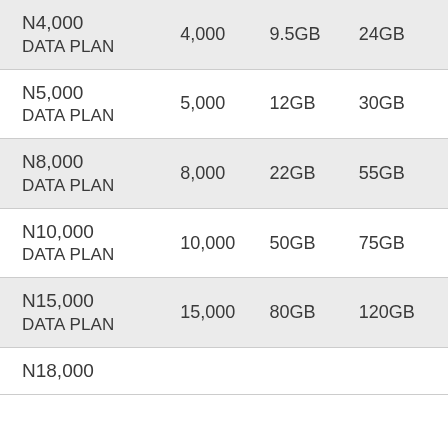| Plan | Price | Data (Day) | Data (Night/All) |
| --- | --- | --- | --- |
| N4,000 DATA PLAN | 4,000 | 9.5GB | 24GB |
| N5,000 DATA PLAN | 5,000 | 12GB | 30GB |
| N8,000 DATA PLAN | 8,000 | 22GB | 55GB |
| N10,000 DATA PLAN | 10,000 | 50GB | 75GB |
| N15,000 DATA PLAN | 15,000 | 80GB | 120GB |
| N18,000 |  |  |  |